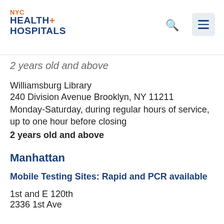NYC Health + Hospitals
2 years old and above
Williamsburg Library
240 Division Avenue Brooklyn, NY 11211
Monday-Saturday, during regular hours of service, up to one hour before closing
2 years old and above
Manhattan
Mobile Testing Sites: Rapid and PCR available
1st and E 120th
2336 1st Ave